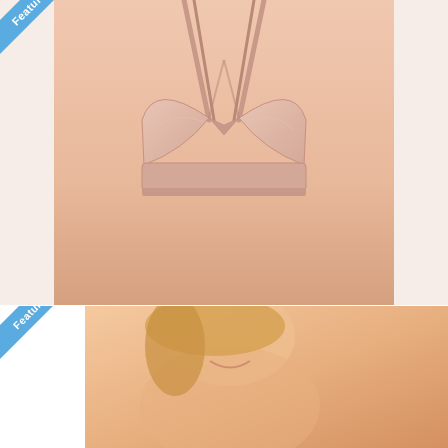[Figure (photo): Product photo of a woman wearing a nude/pink Wacoal Net Effect Soft Cup Bra against a white background]
Wacoal Net Effect Soft Cup Bra, 32 to 38 Band, Style # 810340
$38.00
View
★★★★☆ (1)
[Figure (photo): Partial product photo showing a smiling blonde woman wearing a nude bra, with Featured! ribbon badge]